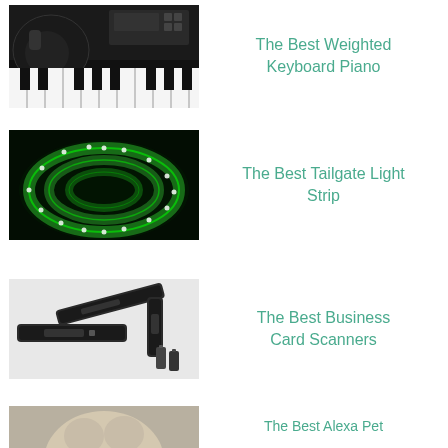[Figure (photo): Keyboard piano with headphones on keys]
The Best Weighted Keyboard Piano
[Figure (photo): Green LED light strip coiled up glowing brightly]
The Best Tailgate Light Strip
[Figure (photo): Business card scanners with batteries]
The Best Business Card Scanners
[Figure (photo): Partially visible pet image at bottom]
The Best Alexa Pet